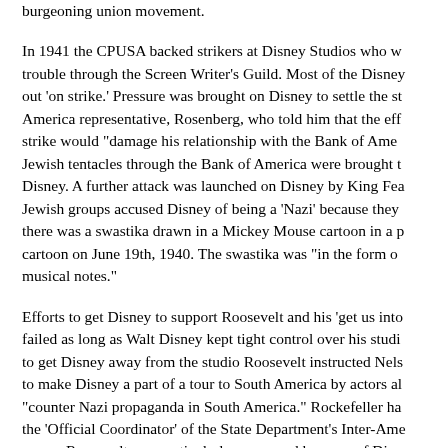burgeoning union movement.
In 1941 the CPUSA backed strikers at Disney Studios who w trouble through the Screen Writer's Guild. Most of the Disney out 'on strike.' Pressure was brought on Disney to settle the st America representative, Rosenberg, who told him that the eff strike would "damage his relationship with the Bank of Ame Jewish tentacles through the Bank of America were brought t Disney. A further attack was launched on Disney by King Fea Jewish groups accused Disney of being a 'Nazi' because they there was a swastika drawn in a Mickey Mouse cartoon in a p cartoon on June 19th, 1940. The swastika was "in the form o musical notes."
Efforts to get Disney to support Roosevelt and his 'get us into failed as long as Walt Disney kept tight control over his studi to get Disney away from the studio Roosevelt instructed Nels to make Disney a part of a tour to South America by actors al "counter Nazi propaganda in South America." Rockefeller ha the 'Official Coordinator' of the State Department's Inter-Ame group. Roosevelt was particularly concerned because of Disn appearances at America First rallies alongside Charles Lindbe